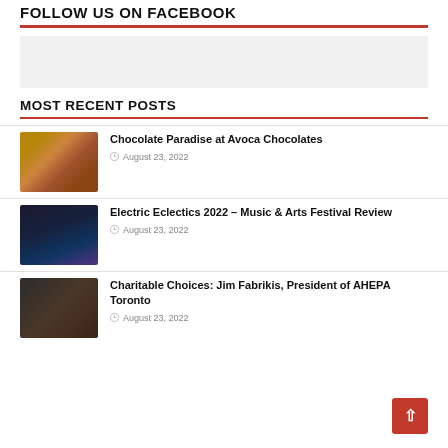FOLLOW US ON FACEBOOK
[Figure (other): Advertisement placeholder box with light grey background]
MOST RECENT POSTS
[Figure (photo): Thumbnail image of chocolates]
Chocolate Paradise at Avoca Chocolates
August 23, 2022
[Figure (photo): Thumbnail image of Electric Eclectics festival with lights at night]
Electric Eclectics 2022 – Music & Arts Festival Review
August 23, 2022
[Figure (photo): Thumbnail image of group of people at Charitable Choices event]
Charitable Choices: Jim Fabrikis, President of AHEPA Toronto
August 23, 2022